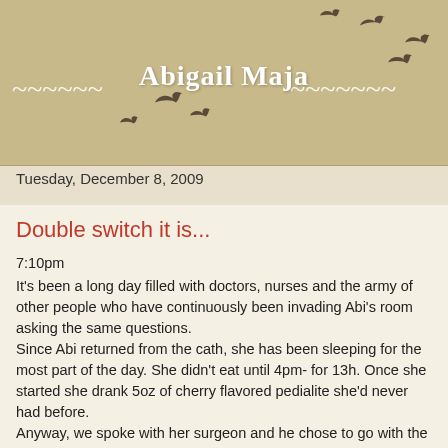[Figure (illustration): Blog header with decorative birds silhouettes flying and tilde wave decorations around the blog title 'Abigail Maja' on a tan/beige background]
Abigail Maja
Tuesday, December 8, 2009
Double switch it is...
7:10pm
It's been a long day filled with doctors, nurses and the army of other people who have continuously been invading Abi's room asking the same questions.
Since Abi returned from the cath, she has been sleeping for the most part of the day. She didn't eat until 4pm- for 13h. Once she started she drank 5oz of cherry flavored pedialite she'd never had before.
Anyway, we spoke with her surgeon and he chose to go with the double switch TOMORROW! Not longer than yesterday he wasn't really keen on doing this now because she is so small! Her systemic valve though leaks a lot so there is no point in waiting longer. We haven't signed up for that, that's